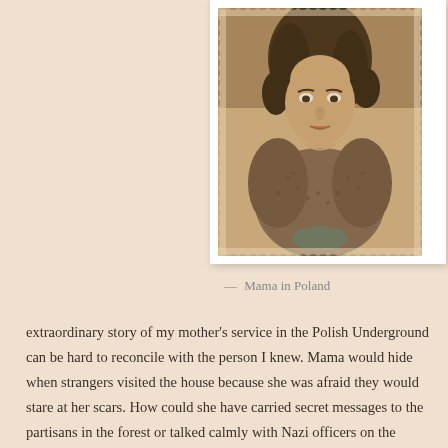[Figure (photo): A sepia-toned vintage photograph of a young woman (Mama) in Poland, showing her head and shoulders. She has dark curly hair and is wearing a patterned jacket. The photo has a decorative deckled/scalloped white border typical of old photographs.]
— Mama in Poland
extraordinary story of my mother's service in the Polish Underground can be hard to reconcile with the person I knew. Mama would hide when strangers visited the house because she was afraid they would stare at her scars. How could she have carried secret messages to the partisans in the forest or talked calmly with Nazi officers on the German-only trains